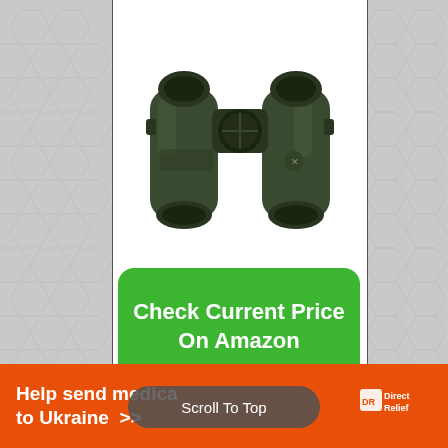[Figure (photo): Product photo of dark green Vortex binoculars on white background]
Check Current Price On Amazon
Scroll To Top
Help send medica... to Ukraine >>